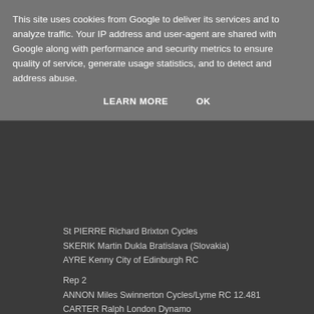This site uses cookies from Google to deliver its services and to analyze traffic. Your IP address and user-agent are shared with Google along with performance and security metrics to ensure quality of service, generate usage statistics, and to detect and address abuse.
LEARN MORE    OK
St PIERRE Richard Brixton Cycles
SKERIK Martin Dukla Bratislava (Slovakia)
AYRE Kenny City of Edinburgh RC
Rep 2
ANNON Miles Swinnerton Cycles/Lyme RC 12.481
CARTER Ralph London Dynamo
PRATI Andrea Pedale Agratese (Italy)
HENDERSON Ian PMR@Toachim House
Rep 3
VEEN Michal Amsterdam (Holland) 12.53
BENNETT Peter Performance Cycle Coaching
ROHON Michal Dukla Bratislava (Slovakia)
WILLIAMS Ieuan CC Cardiff
Rep 4